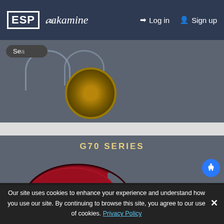[Figure (screenshot): ESP and Takamine brand logos in navigation bar on dark blue background]
Log in
Sign up
Se
[Figure (photo): Partial view of a guitar sound hole and body from above, rosette visible, dark teal/grey background]
G70 SERIES
[Figure (photo): Red acoustic-electric cutaway guitar (Takamine G70 Series) with dark fretboard, gold tuning pegs, floral pickguard inlay, on dark grey-blue background]
Our site uses cookies to enhance your experience and understand how you use our site. By continuing to browse this site, you agree to our use of cookies. Privacy Policy